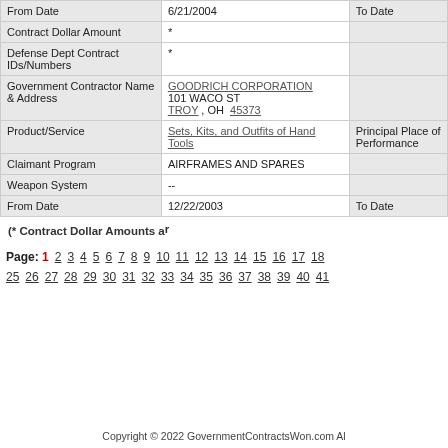| Field | Value | Label |
| --- | --- | --- |
| From Date | 6/21/2004 | To Date |
| Contract Dollar Amount | * |  |
| Defense Dept Contract IDs/Numbers | * |  |
| Government Contractor Name & Address | GOODRICH CORPORATION
101 WACO ST
TROY , OH  45373 |  |
| Product/Service | Sets, Kits, and Outfits of Hand Tools | Principal Place of Performance |
| Claimant Program | AIRFRAMES AND SPARES |  |
| Weapon System | -- |  |
| From Date | 12/22/2003 | To Date |
(* Contract Dollar Amounts ar
Page: 1 2 3 4 5 6 7 8 9 10 11 12 13 14 15 16 17 18 25 26 27 28 29 30 31 32 33 34 35 36 37 38 39 40 41
Copyright © 2022 GovernmentContractsWon.com Al